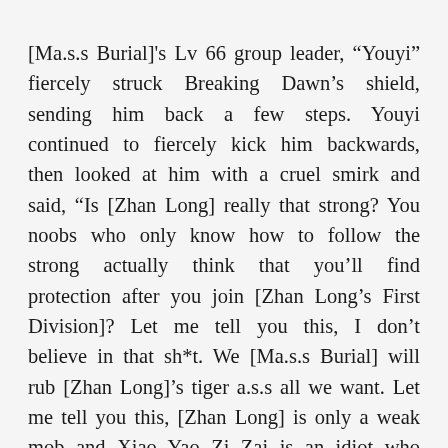[Ma.s.s Burial]'s Lv 66 group leader, “Youyi” fiercely struck Breaking Dawn’s shield, sending him back a few steps. Youyi continued to fiercely kick him backwards, then looked at him with a cruel smirk and said, “Is [Zhan Long] really that strong? You noobs who only know how to follow the strong actually think that you’ll find protection after you join [Zhan Long’s First Division]? Let me tell you this, I don’t believe in that sh*t. We [Ma.s.s Burial] will rub [Zhan Long]’s tiger a.s.s all we want. Let me tell you this, [Zhan Long] is only a weak mob and Xiao Yao Zi Zai is an idiot who only knows how to hug Cang Tong’s legs. Just keep hiding